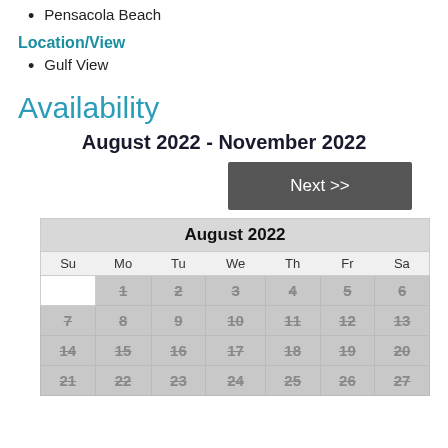Pensacola Beach
Location/View
Gulf View
Availability
August 2022 - November 2022
[Figure (other): Next >> navigation button]
| Su | Mo | Tu | We | Th | Fr | Sa |
| --- | --- | --- | --- | --- | --- | --- |
|  | 1 | 2 | 3 | 4 | 5 | 6 |
| 7 | 8 | 9 | 10 | 11 | 12 | 13 |
| 14 | 15 | 16 | 17 | 18 | 19 | 20 |
| 21 | 22 | 23 | 24 | 25 | 26 | 27 |